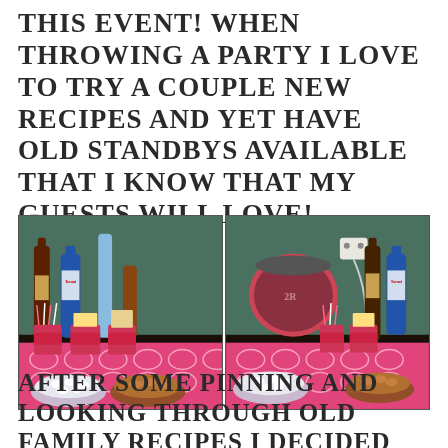THIS EVENT! WHEN THROWING A PARTY I LOVE TO TRY A COUPLE NEW RECIPES AND YET HAVE OLD STANDBYS AVAILABLE THAT I KNOW THAT MY GUESTS WILL LOVE!
[Figure (photo): Two side-by-side photos of a party food/dessert bar set up on a counter with a pink patterned tablecloth. Various bowls of toppings, bottles of liquor, and dispensers are visible on the counter.]
AFTER SOME PINNING AND LOOKING THROUGH OLD FAMILY RECIPES I DECIDED TO PUT